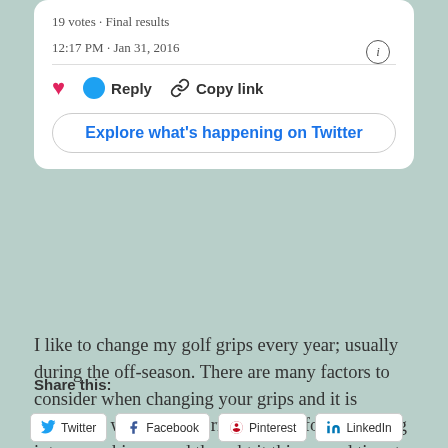19 votes · Final results
12:17 PM · Jan 31, 2016
[Figure (screenshot): Twitter embed card with like, reply, copy link actions and Explore button]
I like to change my golf grips every year; usually during the off-season. There are many factors to consider when changing your grips and it is important we select the right grip to for you! I dug into my achieves and thought it this a good time to remind everyone that golf season is quickly approaching and it is time to get ready!
Continue reading →
Share this:
Twitter   Facebook   Pinterest   LinkedIn